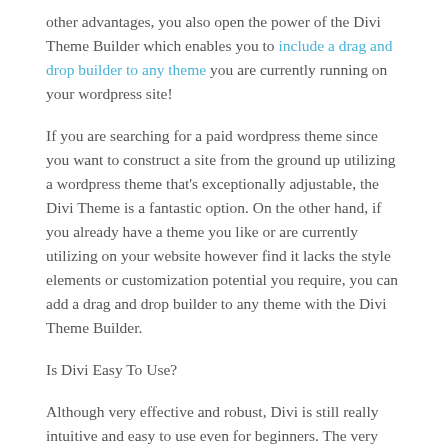other advantages, you also open the power of the Divi Theme Builder which enables you to include a drag and drop builder to any theme you are currently running on your wordpress site!
If you are searching for a paid wordpress theme since you want to construct a site from the ground up utilizing a wordpress theme that’s exceptionally adjustable, the Divi Theme is a fantastic option. On the other hand, if you already have a theme you like or are currently utilizing on your website however find it lacks the style elements or customization potential you require, you can add a drag and drop builder to any theme with the Divi Theme Builder.
Is Divi Easy To Use?
Although very effective and robust, Divi is still really intuitive and easy to use even for beginners. The very first site I ever constructed was with Divi. Without any